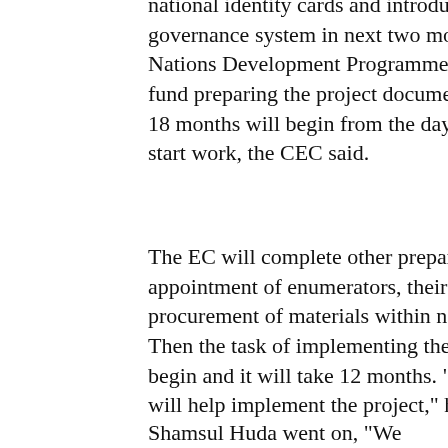national identity cards and introduction of e-governance system in next two months. The United Nations Development Programme (UNDP) will fund preparing the project document. Counting of 18 months will begin from the day the consultants start work, the CEC said.
The EC will complete other preparatory work like appointment of enumerators, their training and procurement of materials within next six months. Then the task of implementing the project will begin and it will take 12 months. "Bangladesh army will help implement the project," he said.
Shamsul Huda went on, "We